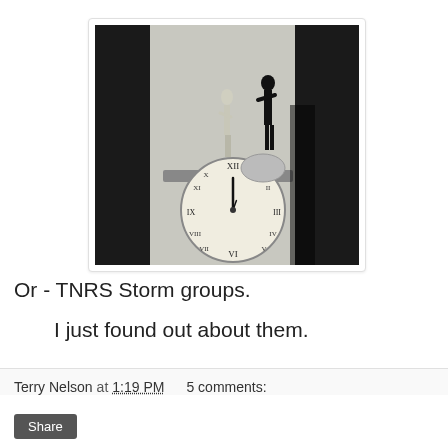[Figure (photo): Black and white photograph of an ornate antique clock with Roman numerals on its face, and decorative figurines on top, photographed against a wall.]
Or - TNRS Storm groups.
I just found out about them.
Terry Nelson at 1:19 PM   5 comments: